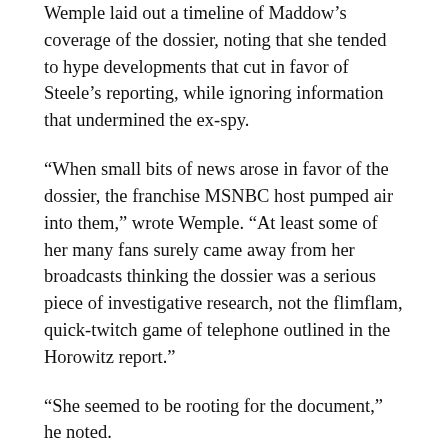Wemple laid out a timeline of Maddow's coverage of the dossier, noting that she tended to hype developments that cut in favor of Steele's reporting, while ignoring information that undermined the ex-spy.
“When small bits of news arose in favor of the dossier, the franchise MSNBC host pumped air into them,” wrote Wemple. “At least some of her many fans surely came away from her broadcasts thinking the dossier was a serious piece of investigative research, not the flimflam, quick-twitch game of telephone outlined in the Horowitz report.”
“She seemed to be rooting for the document,” he noted. According to Wemple, Maddow touted reports from other news outlets that claimed parts of the dossier were corroborated. On May 3, 2017, she said on her show that “more and more” aspects of the dossier had been “substantiated or corroborated.”